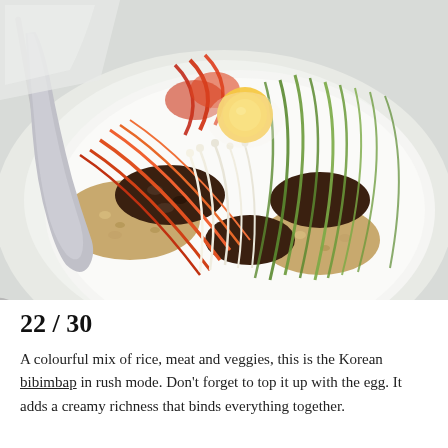[Figure (photo): A colourful Korean bibimbap dish served on a white plate with a spoon beside it, featuring toppings of julienned carrots, zucchini, bean sprouts, seasoned ground beef, rice, kimchi, and a raw egg yolk in the centre.]
22 / 30
A colourful mix of rice, meat and veggies, this is the Korean bibimbap in rush mode. Don't forget to top it up with the egg. It adds a creamy richness that binds everything together.